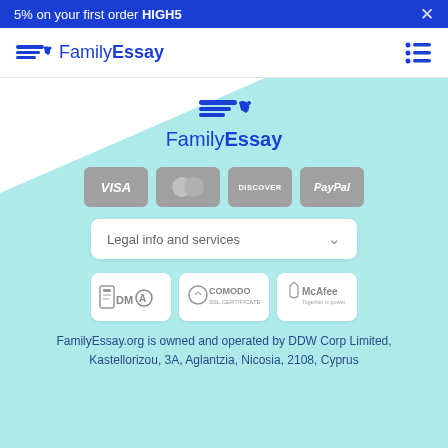5% on your first order HIGH5
[Figure (logo): FamilyEssay logo with stylized pen/lines icon, blue color]
[Figure (logo): FamilyEssay logo centered in footer area]
[Figure (logo): Payment icons: VISA, Mastercard, Discover, PayPal - greyed out]
Legal info and services
[Figure (logo): Trust badges: DMCA, COMODO SSL CERTIFICATE, McAfee Together is power]
FamilyEssay.org is owned and operated by DDW Corp Limited, Kastellorizou, 3A, Aglantzia, Nicosia, 2108, Cyprus
Copyright © 2018 - 2022 FamilyEssay, All rights reserved